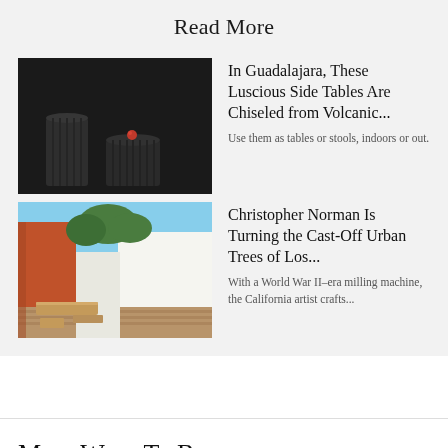Read More
[Figure (photo): Dark cylindrical stone pedestals, one topped with a small red sphere, on a dark background]
In Guadalajara, These Luscious Side Tables Are Chiseled from Volcanic...
Use them as tables or stools, indoors or out.
[Figure (photo): Outdoor scene with orange-red and white walls, trees, and wooden furniture pieces on a brick floor]
Christopher Norman Is Turning the Cast-Off Urban Trees of Los...
With a World War II–era milling machine, the California artist crafts...
More Ways To Browse